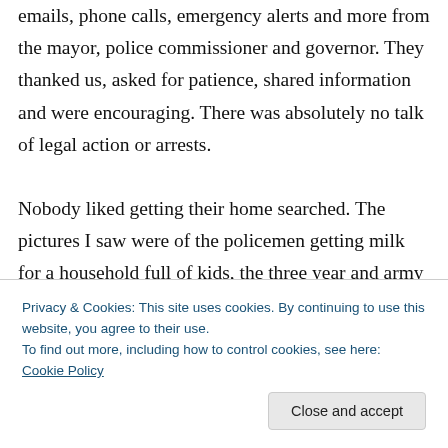emails, phone calls, emergency alerts and more from the mayor, police commissioner and governor. They thanked us, asked for patience, shared information and were encouraging. There was absolutely no talk of legal action or arrests.

Nobody liked getting their home searched. The pictures I saw were of the policemen getting milk for a household full of kids, the three year and army reserve officer exchanging high-fives. People wrote about their experiences. What it
Privacy & Cookies: This site uses cookies. By continuing to use this website, you agree to their use.
To find out more, including how to control cookies, see here: Cookie Policy
Close and accept